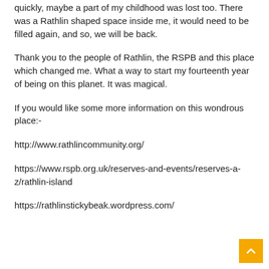quickly, maybe a part of my childhood was lost too. There was a Rathlin shaped space inside me, it would need to be filled again, and so, we will be back.
Thank you to the people of Rathlin, the RSPB and this place which changed me. What a way to start my fourteenth year of being on this planet. It was magical.
If you would like some more information on this wondrous place:-
http://www.rathlincommunity.org/
https://www.rspb.org.uk/reserves-and-events/reserves-a-z/rathlin-island
https://rathlinstickybeak.wordpress.com/